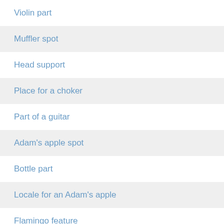Violin part
Muffler spot
Head support
Place for a choker
Part of a guitar
Adam's apple spot
Bottle part
Locale for an Adam's apple
Flamingo feature
Jugular location